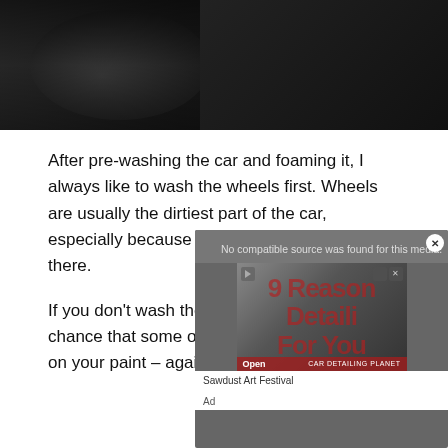[Figure (photo): Dark photo of a car wheel being washed, showing wheel and brake details against a dark background]
After pre-washing the car and foaming it, I always like to wash the wheels first. Wheels are usually the dirtiest part of the car, especially because of the brake dust stuck in there.
If you don't wash the wheels first, there's a big chance that some of that brake dust ends up on your paint – again, scratching it.
[Figure (screenshot): Ad overlay showing 'No compatible source was found for this media.' error message, with a video ad for '9 Reasons Why Car Detailing is Great For Your Vehicle' from CAR DETAILING PLANET, with an Open button and close X button. Below the ad: Sawdust Art Festival label and Ad text.]